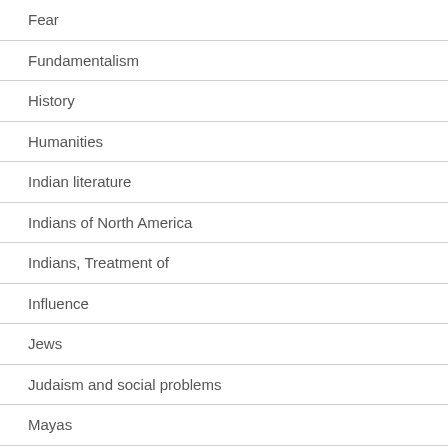| Fear |
| Fundamentalism |
| History |
| Humanities |
| Indian literature |
| Indians of North America |
| Indians, Treatment of |
| Influence |
| Jews |
| Judaism and social problems |
| Mayas |